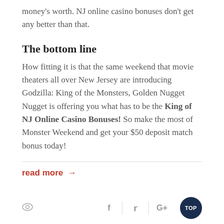money's worth. NJ online casino bonuses don't get any better than that.
The bottom line
How fitting it is that the same weekend that movie theaters all over New Jersey are introducing Godzilla: King of the Monsters, Golden Nugget Nugget is offering you what has to be the King of NJ Online Casino Bonuses! So make the most of Monster Weekend and get your $50 deposit match bonus today!
read more →